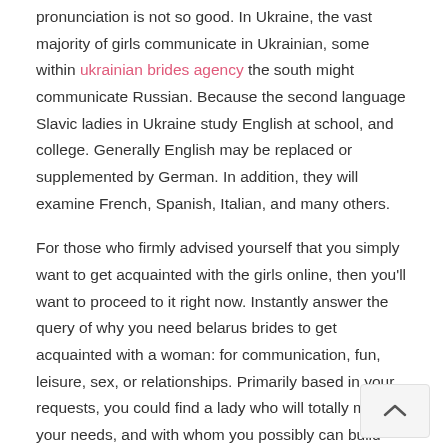pronunciation is not so good. In Ukraine, the vast majority of girls communicate in Ukrainian, some within ukrainian brides agency the south might communicate Russian. Because the second language Slavic ladies in Ukraine study English at school, and college. Generally English may be replaced or supplemented by German. In addition, they will examine French, Spanish, Italian, and many others.
For those who firmly advised yourself that you simply want to get acquainted with the girls online, then you'll want to proceed to it right now. Instantly answer the query of why you need belarus brides to get acquainted with a woman: for communication, fun, leisure, sex, or relationships. Primarily based in your requests, you could find a lady who will totally match your needs, and with whom you possibly can build essentially the most harmonious and successful relationship.
If you happen to ever come throughout the expressio...